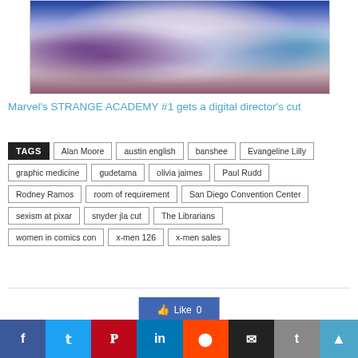[Figure (illustration): Comic book artwork showing several superhero characters including a dark-haired woman, a pink/purple figure, a blonde character in a white outfit with pink spots/stains, and partial figures on the edges]
Marvel's STRANGE ACADEMY #1 gets a digital director's cut
TAGS  Alan Moore  austin english  banshee  Evangeline Lilly  graphic medicine  gudetama  olivia jaimes  Paul Rudd  Rodney Ramos  room of requirement  San Diego Convention Center  sexism at pixar  snyder jla cut  The Librarians  women in comics con  x-men 126  x-men sales
[Figure (other): Facebook Like button showing thumbs up icon and Like 0 count]
[Figure (other): Social sharing buttons: Facebook, Twitter, Pinterest, LinkedIn, Reddit, Email, Tumblr, and scroll-to-top arrow]